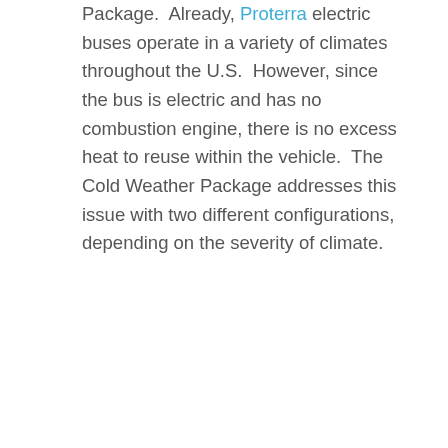Package.  Already, Proterra electric buses operate in a variety of climates throughout the U.S.  However, since the bus is electric and has no combustion engine, there is no excess heat to reuse within the vehicle.  The Cold Weather Package addresses this issue with two different configurations, depending on the severity of climate.